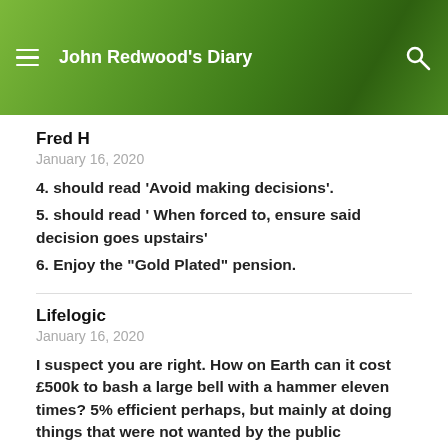John Redwood's Diary
Fred H
January 16, 2020
4. should read ‘Avoid making decisions’.
5. should read ‘ When forced to, ensure said decision goes upstairs’
6. Enjoy the “Gold Plated” pension.
Lifelogic
January 16, 2020
I suspect you are right. How on Earth can it cost £500k to bash a large bell with a hammer eleven times? 5% efficient perhaps, but mainly at doing things that were not wanted by the public